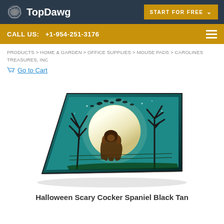TopDawg | START FOR FREE
CALL US: +1-954-251-3176
PRODUCTS > HOME & GARDEN > OFFICE SUPPLIES > MOUSE PADS > CAROLINES TREASURES, INC
Go to Cart
[Figure (photo): Mouse pad featuring a Halloween Scary Cocker Spaniel Black Tan design with a dog against a moonlit spooky night scene with bare trees]
Halloween Scary Cocker Spaniel Black Tan